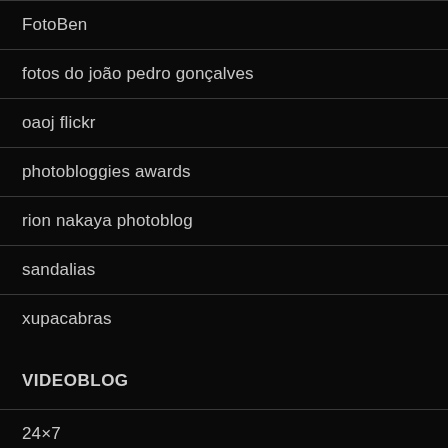FotoBen
fotos do joão pedro gonçalves
oaoj flickr
photobloggies awards
rion nakaya photoblog
sandalias
xupacabras
VIDEOBLOG
24×7
29fragiledays
49media